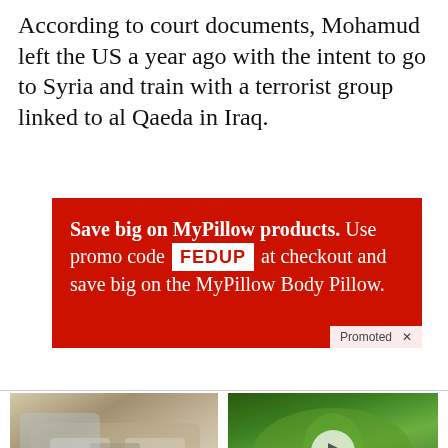According to court documents, Mohamud left the US a year ago with the intent to go to Syria and train with a terrorist group linked to al Qaeda in Iraq.
[Figure (infographic): Red advertisement banner for MyPillow products with white text: 'Save big on MyPillow products. Use promo code FEDUP at checkout and save big on the MyPillow Body Pillow.' with a white box highlighting the promo code FEDUP in red bold text. A 'Promoted X' overlay appears at bottom right.]
[Figure (photo): Photo of luxury SUV interior with cream/beige leather seats]
Take A Peek At 2022's Best SUVs For Seniors
🔥 4,482
[Figure (photo): Close-up photo of green vegetable/plant with a play button overlay circle]
One Bite of This Keeps Blood Sugar Below 100 (Try Tonight)
🔥 7,198